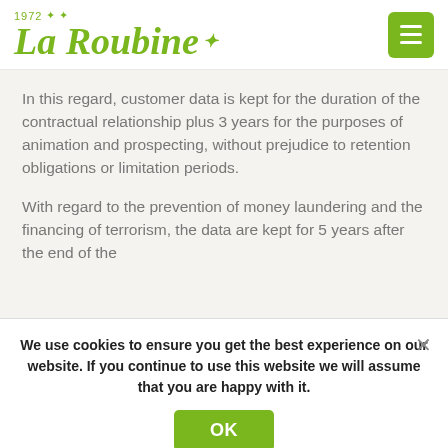[Figure (logo): La Roubine 1972 logo with stars in olive green]
In this regard, customer data is kept for the duration of the contractual relationship plus 3 years for the purposes of animation and prospecting, without prejudice to retention obligations or limitation periods.
With regard to the prevention of money laundering and the financing of terrorism, the data are kept for 5 years after the end of the
We use cookies to ensure you get the best experience on our website. If you continue to use this website we will assume that you are happy with it.